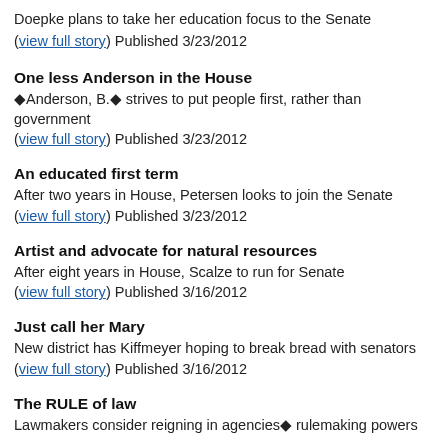Doepke plans to take her education focus to the Senate (view full story) Published 3/23/2012
One less Anderson in the House
◆Anderson, B.◆ strives to put people first, rather than government (view full story) Published 3/23/2012
An educated first term
After two years in House, Petersen looks to join the Senate (view full story) Published 3/23/2012
Artist and advocate for natural resources
After eight years in House, Scalze to run for Senate (view full story) Published 3/16/2012
Just call her Mary
New district has Kiffmeyer hoping to break bread with senators (view full story) Published 3/16/2012
The RULE of law
Lawmakers consider reigning in agencies◆ rulemaking powers